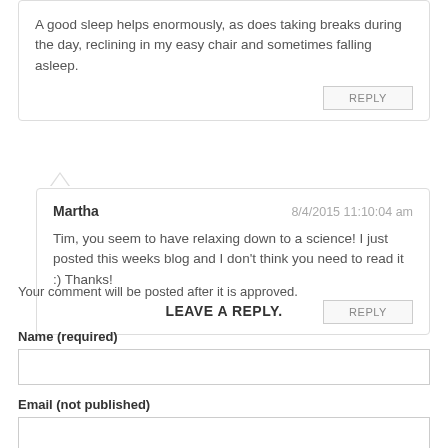A good sleep helps enormously, as does taking breaks during the day, reclining in my easy chair and sometimes falling asleep.
REPLY
Martha  8/4/2015 11:10:04 am
Tim, you seem to have relaxing down to a science! I just posted this weeks blog and I don't think you need to read it :) Thanks!
REPLY
Your comment will be posted after it is approved.
LEAVE A REPLY.
Name (required)
Email (not published)